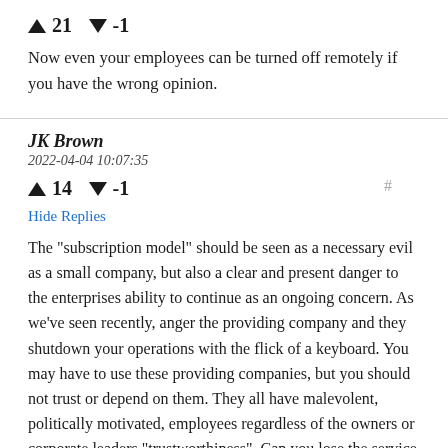↑ 21 ↓ -1
Now even your employees can be turned off remotely if you have the wrong opinion.
JK Brown
2022-04-04 10:07:35
↑ 14 ↓ -1
Hide Replies
The "subscription model" should be seen as a necessary evil as a small company, but also a clear and present danger to the enterprises ability to continue as an ongoing concern. As we've seen recently, anger the providing company and they shutdown your operations with the flick of a keyboard. You may have to use these providing companies, but you should not trust or depend on them. They all have malevolent, politically motivated, employees regardless of the owners or corporate leaders "trustworthiness". Can you lose the service for a week or a